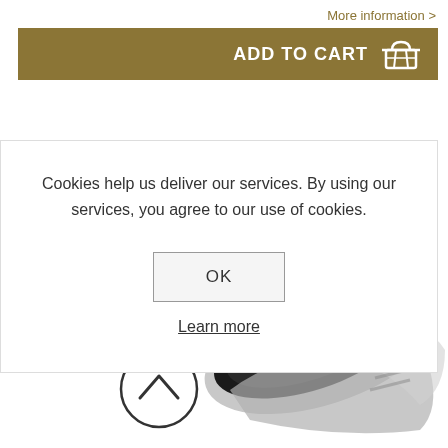More information >
ADD TO CART
Cookies help us deliver our services. By using our services, you agree to our use of cookies.
OK
Learn more
[Figure (photo): Partial view of a product (appears to be a metallic/silver device or component) visible at the bottom of the page behind a cookie consent modal]
[Figure (other): Back to top chevron button — circle with upward-pointing arrow]